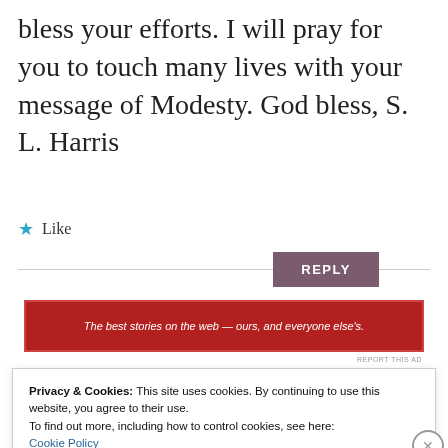bless your efforts. I will pray for you to touch many lives with your message of Modesty. God bless, S. L. Harris
★ Like
REPLY
[Figure (infographic): Red advertisement banner with white text: 'The best stories on the web — ours, and everyone else's.']
REPORT THIS AD
Privacy & Cookies: This site uses cookies. By continuing to use this website, you agree to their use.
To find out more, including how to control cookies, see here:
Cookie Policy
Close and accept